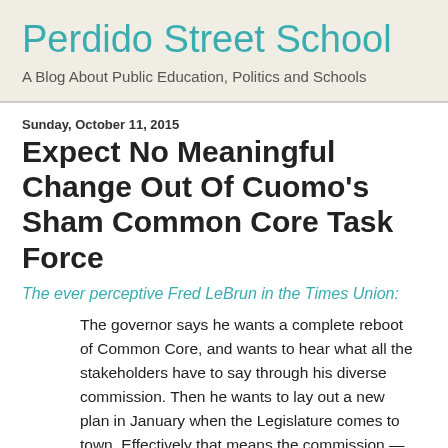Perdido Street School
A Blog About Public Education, Politics and Schools
Sunday, October 11, 2015
Expect No Meaningful Change Out Of Cuomo's Sham Common Core Task Force
The ever perceptive Fred LeBrun in the Times Union:
The governor says he wants a complete reboot of Common Core, and wants to hear what all the stakeholders have to say through his diverse commission. Then he wants to lay out a new plan in January when the Legislature comes to town. Effectively that means the commission — which incidentally has an agenda from the "Out Cutt...